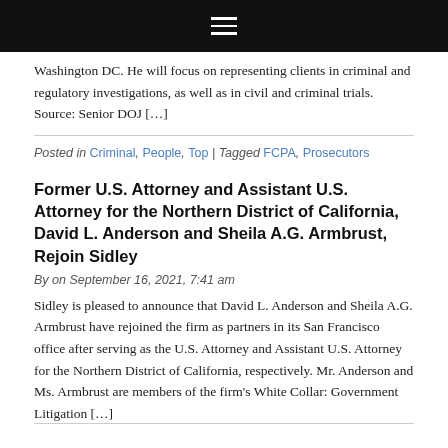Navigation bar with hamburger menu
Washington DC. He will focus on representing clients in criminal and regulatory investigations, as well as in civil and criminal trials. Source: Senior DOJ […]
Posted in Criminal, People, Top | Tagged FCPA, Prosecutors
Former U.S. Attorney and Assistant U.S. Attorney for the Northern District of California, David L. Anderson and Sheila A.G. Armbrust, Rejoin Sidley
By on September 16, 2021, 7:41 am
Sidley is pleased to announce that David L. Anderson and Sheila A.G. Armbrust have rejoined the firm as partners in its San Francisco office after serving as the U.S. Attorney and Assistant U.S. Attorney for the Northern District of California, respectively. Mr. Anderson and Ms. Armbrust are members of the firm's White Collar: Government Litigation […]